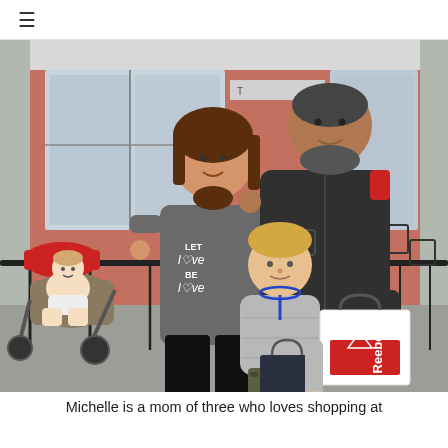≡
[Figure (photo): A family of four posing outside a retail shopping area. A teenage girl wearing a gray 'LET LOVE BE LOVE' sweatshirt and black leggings stands on the left, a man in a dark gray jacket stands behind her with his hand on her shoulder. A toddler in a gray puffer jacket stands in the front center holding a Reebok shopping bag and another dark bag. A baby sits in a red stroller on the left. The background shows a storefront with large windows and outdoor seating with black metal chairs.]
Michelle is a mom of three who loves shopping at